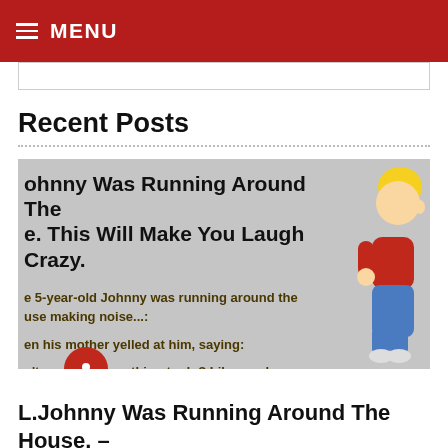MENU
Recent Posts
[Figure (illustration): Cartoon image of a chubby blond boy in a red shirt and blue pants, with overlaid text: 'Johnny Was Running Around The House. This Will Make You Laugh Crazy.' and joke excerpt text below.]
L.Johnny Was Running Around The House. –